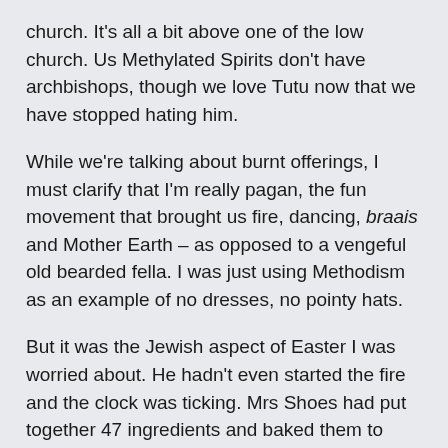church. It's all a bit above one of the low church. Us Methylated Spirits don't have archbishops, though we love Tutu now that we have stopped hating him.
While we're talking about burnt offerings, I must clarify that I'm really pagan, the fun movement that brought us fire, dancing, braais and Mother Earth – as opposed to a vengeful old bearded fella. I was just using Methodism as an example of no dresses, no pointy hats.
But it was the Jewish aspect of Easter I was worried about. He hadn't even started the fire and the clock was ticking. Mrs Shoes had put together 47 ingredients and baked them to perfection and was starting to deliver them to the table. And that was just one dish – there were many others. And still the meat was red and cold and no fire. And we're not talking about slap tjops here, this was a serious section of a lamb that had once roamed the Karoo